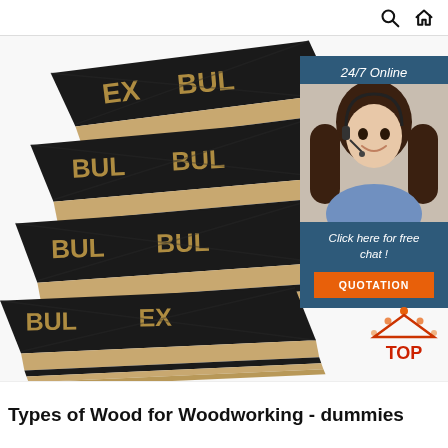[Figure (screenshot): Navigation bar with search icon and home icon on the right]
[Figure (photo): Stack of black film-faced plywood sheets with 'BULLEX' branding stamped on surface, showing layered plywood edges]
[Figure (infographic): Chat widget: '24/7 Online' header, photo of woman with headset smiling, text 'Click here for free chat !', orange QUOTATION button, on dark blue background]
[Figure (illustration): Orange and red 'TOP' icon with dots in triangle arrangement above the word TOP]
Types of Wood for Woodworking - dummies